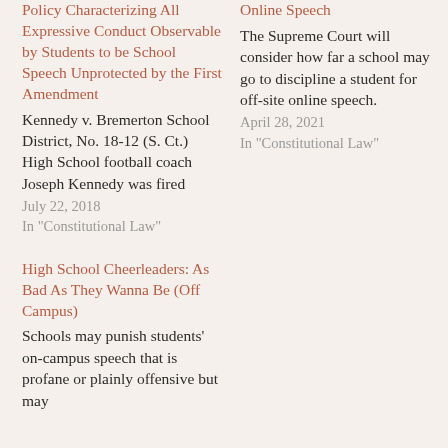Policy Characterizing All Expressive Conduct Observable by Students to be School Speech Unprotected by the First Amendment
Kennedy v. Bremerton School District, No. 18-12 (S. Ct.) High School football coach Joseph Kennedy was fired
July 22, 2018
In "Constitutional Law"
High School Cheerleaders: As Bad As They Wanna Be (Off Campus)
Schools may punish students' on-campus speech that is profane or plainly offensive but may
Online Speech
The Supreme Court will consider how far a school may go to discipline a student for off-site online speech.
April 28, 2021
In "Constitutional Law"